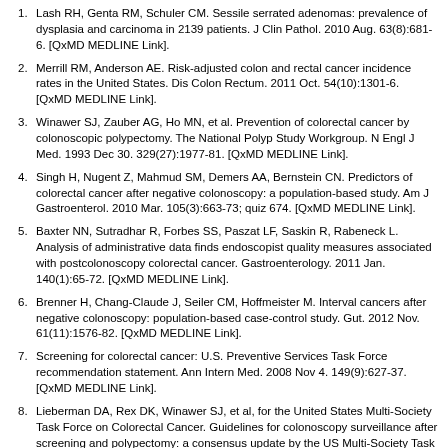1. Lash RH, Genta RM, Schuler CM. Sessile serrated adenomas: prevalence of dysplasia and carcinoma in 2139 patients. J Clin Pathol. 2010 Aug. 63(8):681-6. [QxMD MEDLINE Link].
2. Merrill RM, Anderson AE. Risk-adjusted colon and rectal cancer incidence rates in the United States. Dis Colon Rectum. 2011 Oct. 54(10):1301-6. [QxMD MEDLINE Link].
3. Winawer SJ, Zauber AG, Ho MN, et al. Prevention of colorectal cancer by colonoscopic polypectomy. The National Polyp Study Workgroup. N Engl J Med. 1993 Dec 30. 329(27):1977-81. [QxMD MEDLINE Link].
4. Singh H, Nugent Z, Mahmud SM, Demers AA, Bernstein CN. Predictors of colorectal cancer after negative colonoscopy: a population-based study. Am J Gastroenterol. 2010 Mar. 105(3):663-73; quiz 674. [QxMD MEDLINE Link].
5. Baxter NN, Sutradhar R, Forbes SS, Paszat LF, Saskin R, Rabeneck L. Analysis of administrative data finds endoscopist quality measures associated with postcolonoscopy colorectal cancer. Gastroenterology. 2011 Jan. 140(1):65-72. [QxMD MEDLINE Link].
6. Brenner H, Chang-Claude J, Seiler CM, Hoffmeister M. Interval cancers after negative colonoscopy: population-based case-control study. Gut. 2012 Nov. 61(11):1576-82. [QxMD MEDLINE Link].
7. Screening for colorectal cancer: U.S. Preventive Services Task Force recommendation statement. Ann Intern Med. 2008 Nov 4. 149(9):627-37. [QxMD MEDLINE Link].
8. Lieberman DA, Rex DK, Winawer SJ, et al, for the United States Multi-Society Task Force on Colorectal Cancer. Guidelines for colonoscopy surveillance after screening and polypectomy: a consensus update by the US Multi-Society Task Force on Colorectal Cancer. Gastroenterology. 2012 Sep.